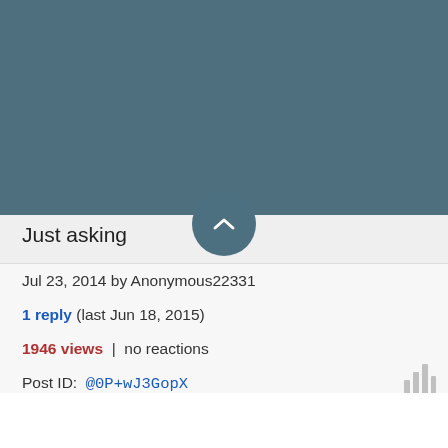Just asking
Jul 23, 2014 by Anonymous22331
1 reply (last Jun 18, 2015)
1946 views | no reactions
Post ID: @0P+wJ3GopX